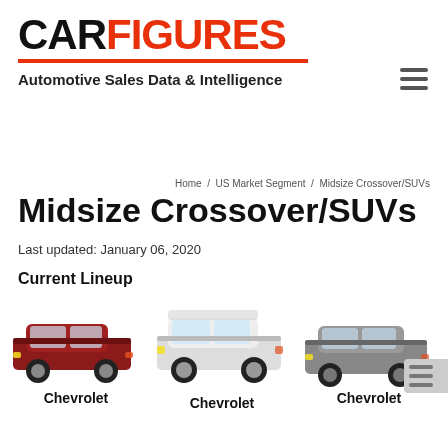CARFIGURES — Automotive Sales Data & Intelligence
Home / US Market Segment / Midsize Crossover/SUVs
Midsize Crossover/SUVs
Last updated: January 06, 2020
Current Lineup
[Figure (photo): Red Chevrolet SUV (Traverse) facing left, 3/4 front view]
Chevrolet
[Figure (photo): White Chevrolet SUV (Trailblazer) facing left, 3/4 front view]
Chevrolet
[Figure (photo): Gray Chevrolet SUV (Blazer) facing left, 3/4 front view]
Chevrolet